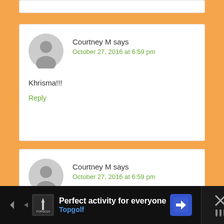Courtney M says
October 27, 2016 at 6:59 pm
Khrisma!!!
Reply
Courtney M says
October 27, 2016 at 6:59 pm
Perfect activity for everyone Topgolf